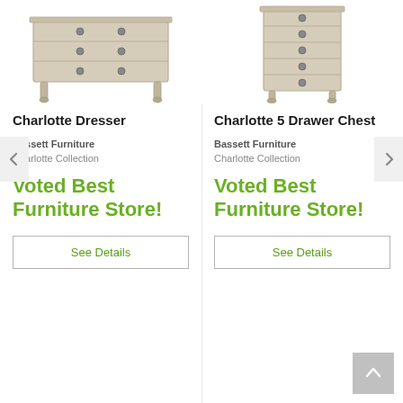[Figure (photo): Charlotte Dresser furniture product photo showing a light wood horizontal dresser with ring drawer pulls and tapered legs]
Charlotte Dresser
Bassett Furniture
Charlotte Collection
Voted Best Furniture Store!
See Details
[Figure (photo): Charlotte 5 Drawer Chest furniture product photo showing a light wood tall chest with ring drawer pulls and tapered legs]
Charlotte 5 Drawer Chest
Bassett Furniture
Charlotte Collection
Voted Best Furniture Store!
See Details